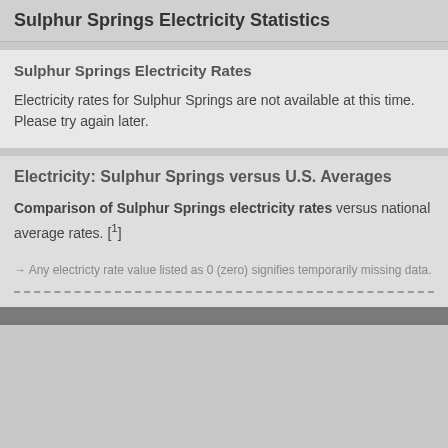Sulphur Springs Electricity Statistics
Sulphur Springs Electricity Rates
Electricity rates for Sulphur Springs are not available at this time. Please try again later.
Electricity: Sulphur Springs versus U.S. Averages
Comparison of Sulphur Springs electricity rates versus national average rates. [1]
→ Any electricty rate value listed as 0 (zero) signifies temporarily missing data.